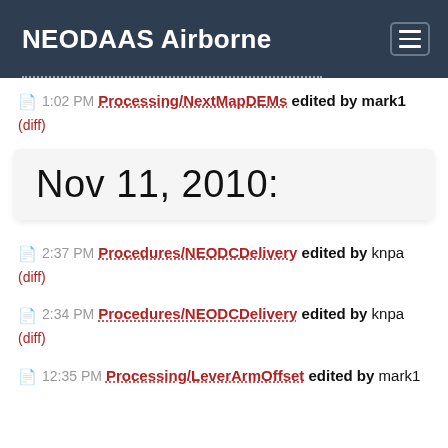NEODAAS Airborne
1:02 PM Processing/NextMapDEMs edited by mark1
(diff)
Nov 11, 2010:
2:37 PM Procedures/NEODCDelivery edited by knpa
(diff)
2:34 PM Procedures/NEODCDelivery edited by knpa
(diff)
12:35 PM Processing/LeverArmOffset edited by mark1